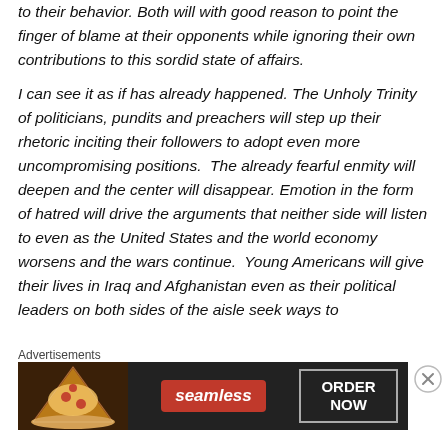to their behavior. Both will with good reason to point the finger of blame at their opponents while ignoring their own contributions to this sordid state of affairs.

I can see it as if has already happened. The Unholy Trinity of politicians, pundits and preachers will step up their rhetoric inciting their followers to adopt even more uncompromising positions.  The already fearful enmity will deepen and the center will disappear. Emotion in the form of hatred will drive the arguments that neither side will listen to even as the United States and the world economy worsens and the wars continue.  Young Americans will give their lives in Iraq and Afghanistan even as their political leaders on both sides of the aisle seek ways to
Advertisements
[Figure (other): Seamless food delivery advertisement banner with pizza image on left, Seamless logo in red in center, and ORDER NOW button on right, on dark background.]